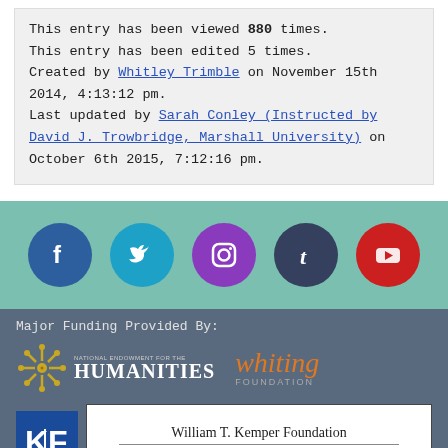This entry has been viewed 880 times.
This entry has been edited 5 times.
Created by Whitley Trimble on November 15th 2014, 4:13:12 pm.
Last updated by Sarah Conley (Instructed by David J. Trowbridge, Marshall University) on October 6th 2015, 7:12:16 pm.
[Figure (infographic): Social media icons: Facebook (blue), Twitter (teal), Instagram (purple), Tumblr (dark blue), YouTube (red) on teal background]
Major Funding Provided By:
[Figure (logo): National Endowment for the Humanities logo with flower/sunburst icon]
[Figure (logo): Whiting Foundation logo in orange italic serif font]
[Figure (logo): KF logo in blue box]
[Figure (logo): William T. Kemper Foundation - Commerce Bank, Trustee logo in white box with border]
Additional Support Provided By:
[Figure (logo): Marshall University M logo, IOAH logo, circular seal, another circular logo, WV italic text]